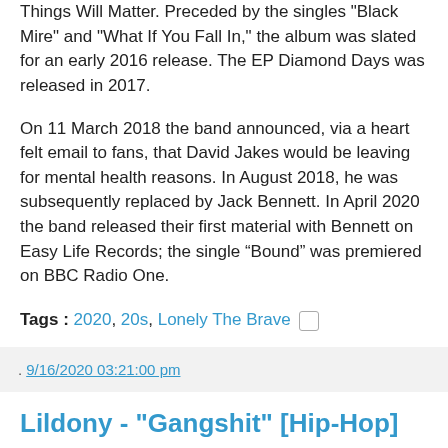Things Will Matter. Preceded by the singles "Black Mire" and "What If You Fall In," the album was slated for an early 2016 release. The EP Diamond Days was released in 2017.
On 11 March 2018 the band announced, via a heart felt email to fans, that David Jakes would be leaving for mental health reasons. In August 2018, he was subsequently replaced by Jack Bennett. In April 2020 the band released their first material with Bennett on Easy Life Records; the single “Bound” was premiered on BBC Radio One.
Tags : 2020, 20s, Lonely The Brave
. 9/16/2020 03:21:00 pm
Lildony - "Gangshit" [Hip-Hop]
[Figure (screenshot): Video thumbnail showing a dark/black bar at top and a gray-toned scene below, partially cropped.]